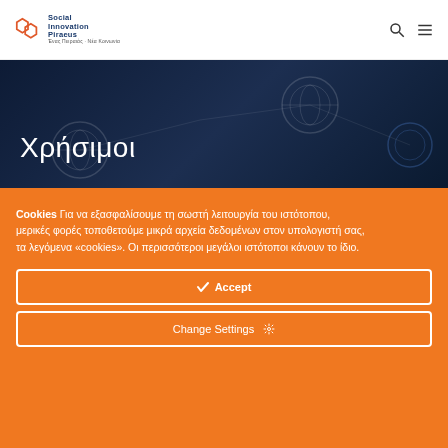Social Innovation Piraeus
[Figure (screenshot): Dark blue hero banner with network/globe graphics and Greek text 'Χρήσιμοι' (Useful)]
Χρήσιμοι
Cookies Για να εξασφαλίσουμε τη σωστή λειτουργία του ιστότοπου, μερικές φορές τοποθετούμε μικρά αρχεία δεδομένων στον υπολογιστή σας, τα λεγόμενα «cookies». Οι περισσότεροι μεγάλοι ιστότοποι κάνουν το ίδιο.
✓  Accept
Change Settings  ⚙